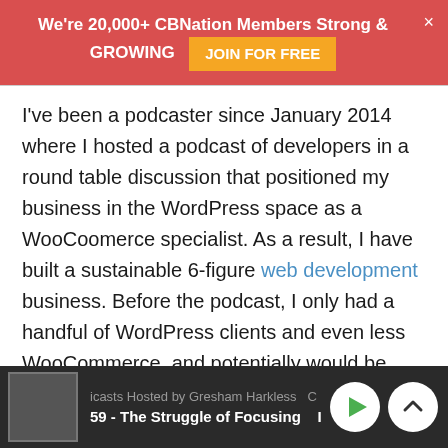We're 20,000+ CBNation Members Strong & GROWING  JOIN FOR FREE
I've been a podcaster since January 2014 where I hosted a podcast of developers in a round table discussion that positioned my business in the WordPress space as a WooCoomerce specialist. As a result, I have built a sustainable 6-figure web development business. Before the podcast, I only had a handful of WordPress clients and even less WooCommerce, and potentially would be sitting in a cube someplace. Today I have 2 different podcasts. A daily and a seasonal one. I use them to reach 2 different segments of my target market. The daily show (Ask Rezzz is targeted to help freelancers who are just starting out. The seasonal show (Live
icasts Hosted by Gresham Harkless   59 - The Struggle of Focusing